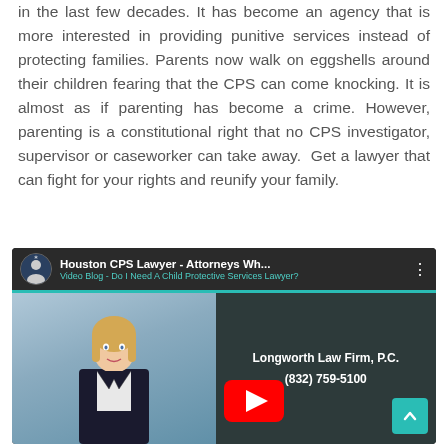in the last few decades. It has become an agency that is more interested in providing punitive services instead of protecting families. Parents now walk on eggshells around their children fearing that the CPS can come knocking. It is almost as if parenting has become a crime. However, parenting is a constitutional right that no CPS investigator, supervisor or caseworker can take away. Get a lawyer that can fight for your rights and reunify your family.
[Figure (screenshot): YouTube video thumbnail for 'Houston CPS Lawyer - Attorneys Wh...' from Longworth Law Firm, P.C. Video Blog - Do I Need A Child Protective Services Lawyer? Shows a blonde woman in a suit on the left and the firm name and phone number (832) 759-5100 on the right.]